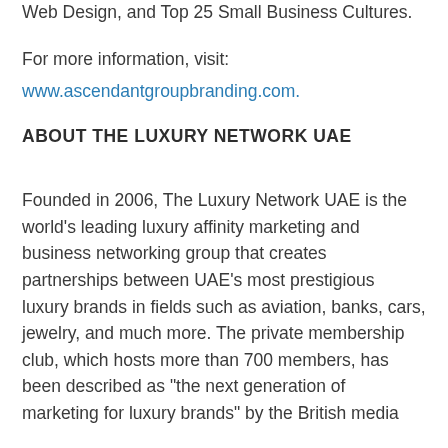Web Design, and Top 25 Small Business Cultures.
For more information, visit:
www.ascendantgroupbranding.com.
ABOUT THE LUXURY NETWORK UAE
Founded in 2006, The Luxury Network UAE is the world's leading luxury affinity marketing and business networking group that creates partnerships between UAE's most prestigious luxury brands in fields such as aviation, banks, cars, jewelry, and much more. The private membership club, which hosts more than 700 members, has been described as "the next generation of marketing for luxury brands" by the British media